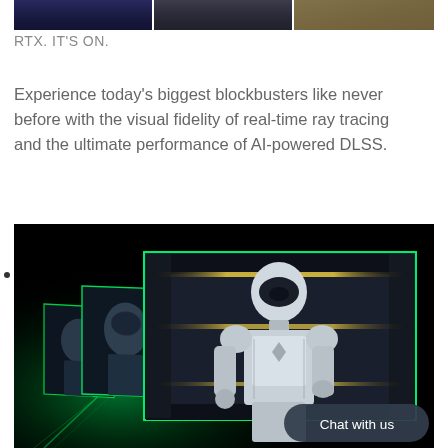[Figure (screenshot): Partial top strip of video game promotional images (dark blue sci-fi, character action, sandy environment)]
RTX. IT'S ON.
Experience today's biggest blockbusters like never before with the visual fidelity of real-time ray tracing and the ultimate performance of AI-powered DLSS.
[Figure (screenshot): NVIDIA DLSS promotional image showing a white-armored robot/character in a futuristic setting with green-glowing cascading frames effect, on a dark background. A 'Chat with us' button overlays the bottom-right corner.]